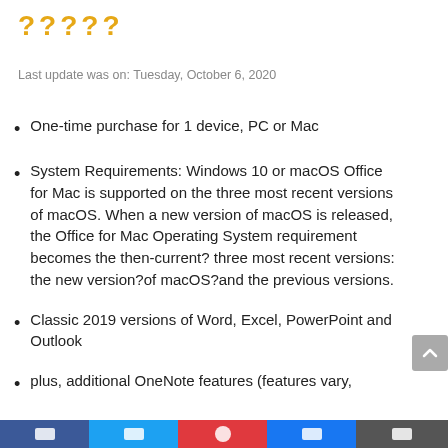?????
Last update was on: Tuesday, October 6, 2020
One-time purchase for 1 device, PC or Mac
System Requirements: Windows 10 or macOS Office for Mac is supported on the three most recent versions of macOS. When a new version of macOS is released, the Office for Mac Operating System requirement becomes the then-current? three most recent versions: the new version?of macOS?and the previous versions.
Classic 2019 versions of Word, Excel, PowerPoint and Outlook
plus, additional OneNote features (features vary,